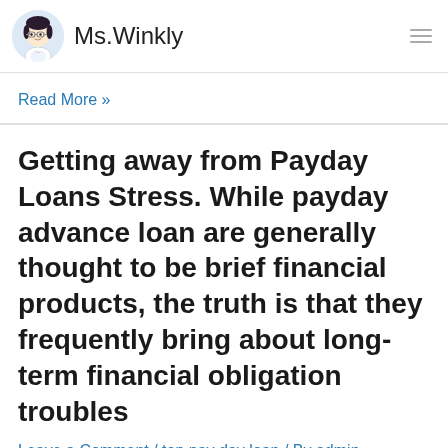Ms.Winkly
Read More »
Getting away from Payday Loans Stress. While payday advance loan are generally thought to be brief financial products, the truth is that they frequently bring about long-term financial obligation troubles
Leave a Comment / top pay day loan / By admin
Getting away from Payday Loans Stress. While